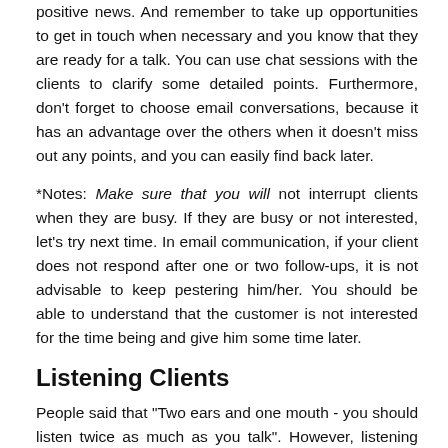positive news. And remember to take up opportunities to get in touch when necessary and you know that they are ready for a talk. You can use chat sessions with the clients to clarify some detailed points. Furthermore, don't forget to choose email conversations, because it has an advantage over the others when it doesn't miss out any points, and you can easily find back later.
*Notes: Make sure that you will not interrupt clients when they are busy. If they are busy or not interested, let's try next time. In email communication, if your client does not respond after one or two follow-ups, it is not advisable to keep pestering him/her. You should be able to understand that the customer is not interested for the time being and give him some time later.
Listening Clients
People said that "Two ears and one mouth - you should listen twice as much as you talk". However, listening will be